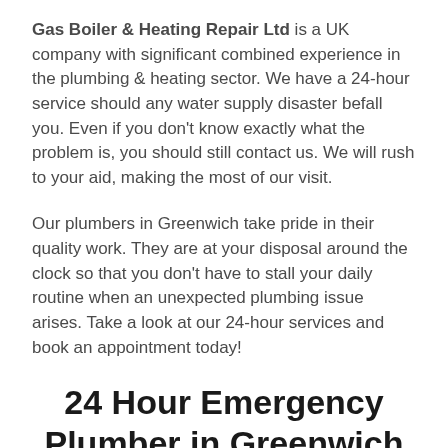Gas Boiler & Heating Repair Ltd is a UK company with significant combined experience in the plumbing & heating sector. We have a 24-hour service should any water supply disaster befall you. Even if you don't know exactly what the problem is, you should still contact us. We will rush to your aid, making the most of our visit.
Our plumbers in Greenwich take pride in their quality work. They are at your disposal around the clock so that you don't have to stall your daily routine when an unexpected plumbing issue arises. Take a look at our 24-hour services and book an appointment today!
24 Hour Emergency Plumber in Greenwich